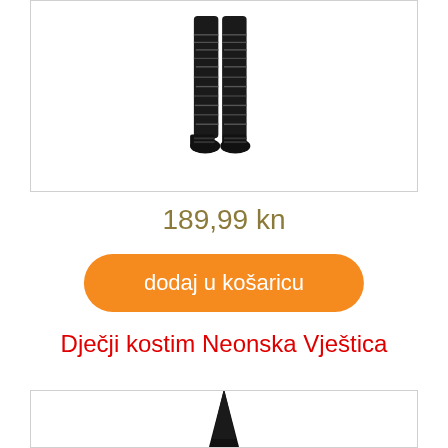[Figure (photo): Partial view of a person wearing black torn/distressed leggings with black shoes, shown from waist down]
189,99 kn
dodaj u košaricu
Dječji kostim Neonska Vještica
[Figure (photo): Partial view of a witch costume showing a black pointed witch hat, bottom of page]